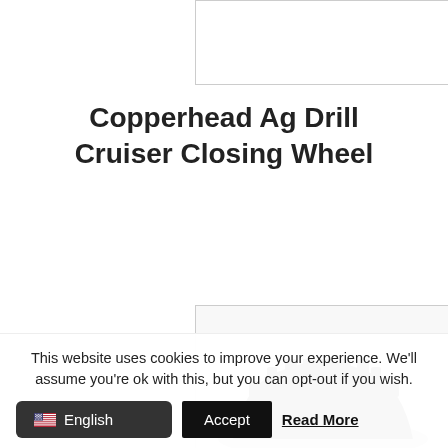[Figure (photo): Product image placeholder at top (white box with border)]
Copperhead Ag Drill Cruiser Closing Wheel
Read more
[Figure (photo): Product image of a closing wheel (dark gear-shaped agricultural part)]
This website uses cookies to improve your experience. We'll assume you're ok with this, but you can opt-out if you wish.
English  Accept  Read More